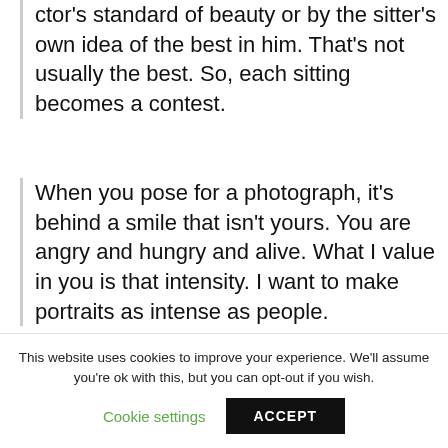ctor's standard of beauty or by the sitter's own idea of the best in him. That's not usually the best. So, each sitting becomes a contest.
When you pose for a photograph, it's behind a smile that isn't yours. You are angry and hungry and alive. What I value in you is that intensity. I want to make portraits as intense as people.
This website uses cookies to improve your experience. We'll assume you're ok with this, but you can opt-out if you wish.
Cookie settings
ACCEPT